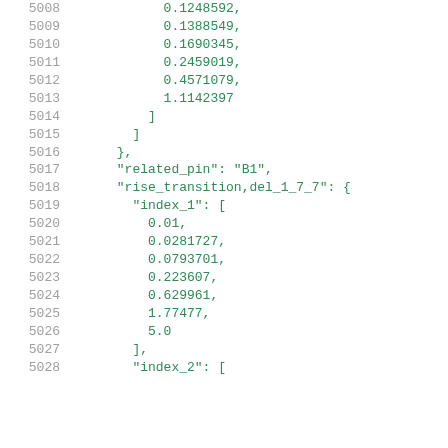Code listing lines 5008-5028 showing JSON-like data structure with numeric array values and keys: related_pin, rise_transition,del_1_7_7, index_1, index_2